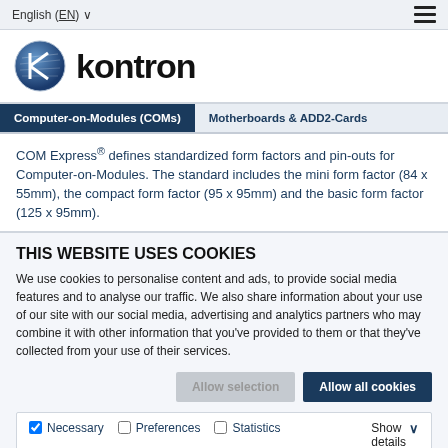English (EN) ∨
[Figure (logo): Kontron logo: blue globe with K, and bold text 'kontron']
Computer-on-Modules (COMs)   Motherboards & ADD2-Cards
COM Express® defines standardized form factors and pin-outs for Computer-on-Modules. The standard includes the mini form factor (84 x 55mm), the compact form factor (95 x 95mm) and the basic form factor (125 x 95mm).
THIS WEBSITE USES COOKIES
We use cookies to personalise content and ads, to provide social media features and to analyse our traffic. We also share information about your use of our site with our social media, advertising and analytics partners who may combine it with other information that you've provided to them or that they've collected from your use of their services.
Allow selection   Allow all cookies
✓ Necessary   □ Preferences   □ Statistics   □ Marketing   Show details ∨